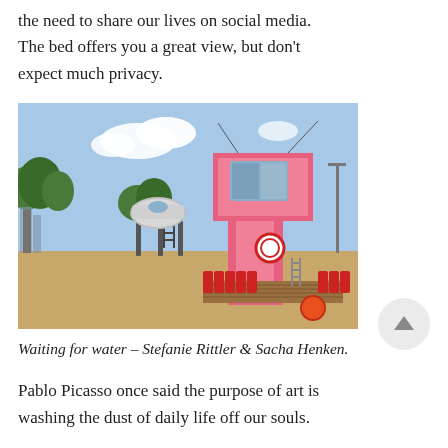the need to share our lives on social media. The bed offers you a great view, but don't expect much privacy.
[Figure (photo): Outdoor art installation featuring a tall pink structure resembling a lifeguard tower with a window at the top, next to a silver pod/trailer on stilts, set on sandy ground with red plastic tanks bordering a wooden deck, blue sky with clouds in background.]
Waiting for water – Stefanie Rittler & Sacha Henken.
Pablo Picasso once said the purpose of art is washing the dust of daily life off our souls.